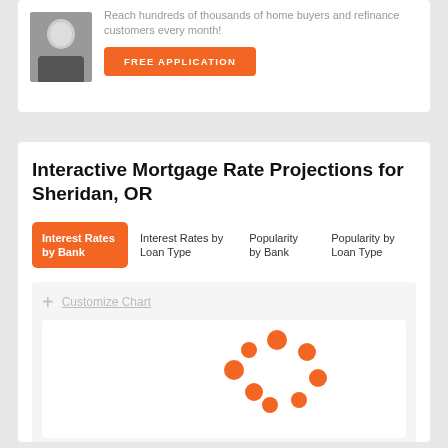Reach hundreds of thousands of home buyers and refinance customers every month!
FREE APPLICATION
Interactive Mortgage Rate Projections for Sheridan, OR
Interest Rates by Bank (active tab)
Interest Rates by Loan Type
Popularity by Bank
Popularity by Loan Type
+ Customize Chart
[Figure (other): Loading spinner made of orange dots arranged in a circular pattern, indicating chart data is loading]